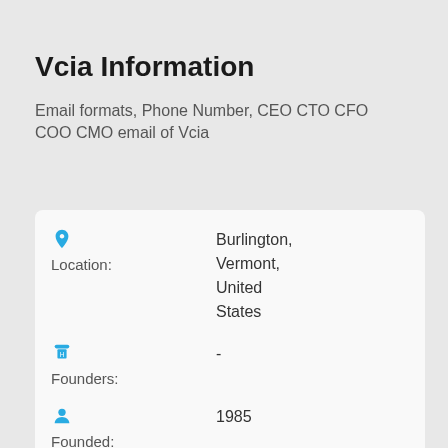Vcia Information
Email formats, Phone Number, CEO CTO CFO COO CMO email of Vcia
| Field | Value |
| --- | --- |
| Location: | Burlington, Vermont, United States |
| Founders: | - |
| Founded: | 1985 |
| Industry: | Financial Services |